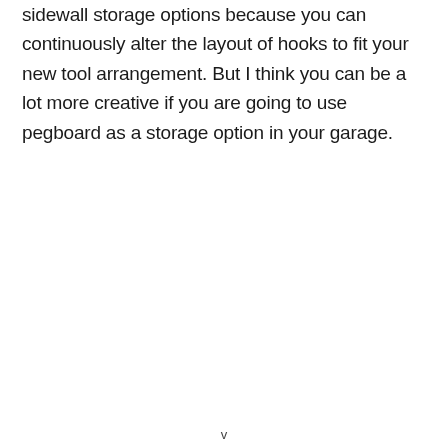sidewall storage options because you can continuously alter the layout of hooks to fit your new tool arrangement. But I think you can be a lot more creative if you are going to use pegboard as a storage option in your garage.
v